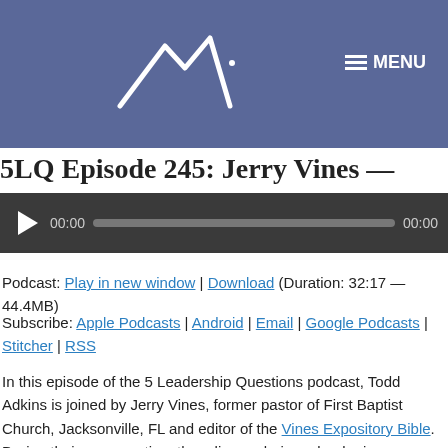MENU
5LQ Episode 245: Jerry Vines —
[Figure (screenshot): Audio player with play button, 00:00 timestamp, progress bar, and 00:00 duration on dark background]
Podcast: Play in new window | Download (Duration: 32:17 — 44.4MB)
Subscribe: Apple Podcasts | Android | Email | Google Podcasts | Stitcher | RSS
In this episode of the 5 Leadership Questions podcast, Todd Adkins is joined by Jerry Vines, former pastor of First Baptist Church, Jacksonville, FL and editor of the Vines Expository Bible. During their conversation, they discuss being a leader in your home and how to handle criticism.